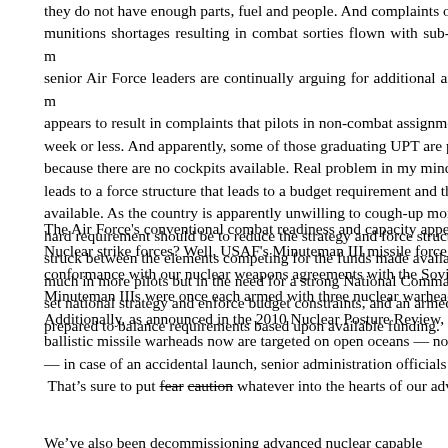they do not have enough parts, fuel and people.  And complaints of munitions shortages resulting in combat sorties flown with sub-opti... senior Air Force leaders are continually arguing for additional airfra... appears to result in complaints that pilots in non-combat assignmen... week or less.  And apparently, some of those graduating UPT are p... because there are no cockpits available.  Real problem in my mind ... leads to a force structure that leads to a budget requirement and th... available.  As the country is apparently unwilling to cough-up more ... hard requirement should be to reduce the strategy and force structu... struck between the elements competing for the funds made availab... much in more pilots but in the need for a strong National Command... set national strategy and enforce budget constraints, and an armed... prepared to balance requirements based upon available funding.
The Air Force's conventional combat readiness and capacity appea... Nuclear strike forces? Well, USAF's Minuteman III missile force has... conformance with our nuclear weapons agreements with the Soviet... Minuteman IIIs were once each armed with three nuclear warheads... Additionally, as announced in the 2010 Nuclear Posture Review, "... ballistic missile warheads now are targeted on open oceans — not... — in case of an accidental launch, senior administration officials sa...  That's sure to put fear caution whatever into the hearts of our adve...
We've also been decommissioning advanced nuclear capable...